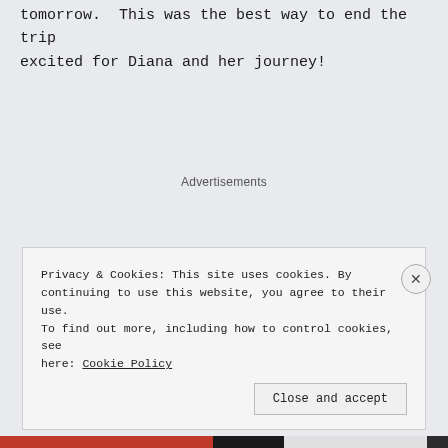tomorrow.  This was the best way to end the trip excited for Diana and her journey!
Advertisements
Privacy & Cookies: This site uses cookies. By continuing to use this website, you agree to their use. To find out more, including how to control cookies, see here: Cookie Policy
Close and accept